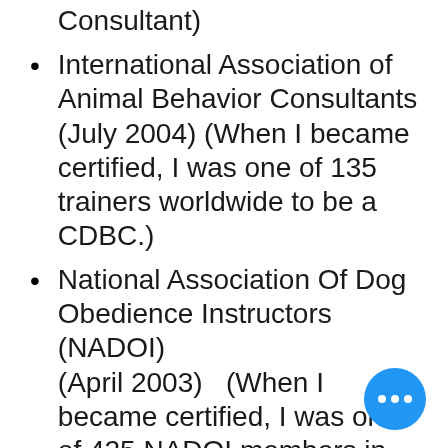Consultant)
International Association of Animal Behavior Consultants (July 2004) (When I became certified, I was one of 135 trainers worldwide to be a CDBC.)
National Association Of Dog Obedience Instructors (NADOI) (April 2003)   (When I became certified, I was one of 425 NADOI members in this organization.)